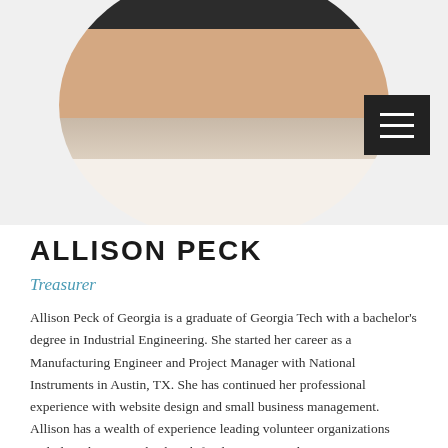[Figure (photo): Circular headshot photo of Allison Peck, a woman with brown hair, smiling, wearing a white top, against a dark background. A dark menu button with three horizontal white lines is overlaid at top right.]
ALLISON PECK
Treasurer
Allison Peck of Georgia is a graduate of Georgia Tech with a bachelor's degree in Industrial Engineering.  She started her career as a Manufacturing Engineer and Project Manager with National Instruments in Austin, TX.  She has continued her professional experience with website design and small business management. Allison has a wealth of experience leading volunteer organizations including the PTO, a backpack food program, and community non-profits. As the treasurer, website designer, and project manager, Allison is committed to doing everything in her power to aid in the effort to help her husband, Nathan, find a cure to VCP